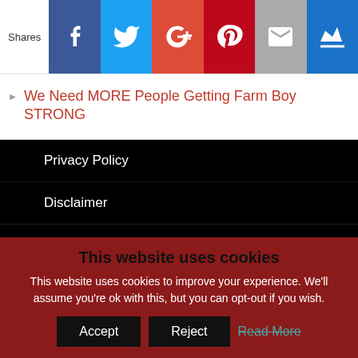[Figure (screenshot): Social share bar with Shares label and six social media buttons: Facebook, Twitter, Google+, Pinterest, Email, Crown/Feed]
We Need MORE People Getting Farm Boy STRONG
Privacy Policy
Disclaimer
Press Inquiries
This website uses cookies
This website uses cookies to improve your experience. We'll assume you're ok with this, but you can opt-out if you wish.